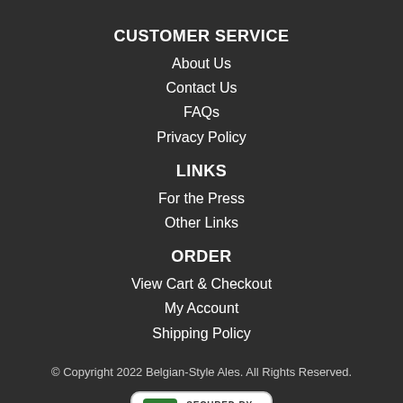CUSTOMER SERVICE
About Us
Contact Us
FAQs
Privacy Policy
LINKS
For the Press
Other Links
ORDER
View Cart & Checkout
My Account
Shipping Policy
© Copyright 2022 Belgian-Style Ales. All Rights Reserved.
[Figure (logo): Secured by Sectigo badge with green S icon and text SECURED BY SECTIGO]